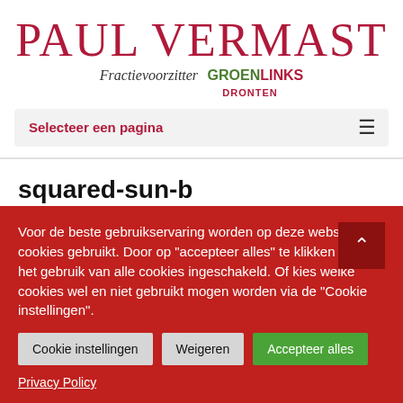PAUL VERMAST
Fractievoorzitter GROENLINKS DRONTEN
Selecteer een pagina
squared-sun-b
door Paul Vermast | zondag 30 augustus 2009 | 0 Reacties
Voor de beste gebruikservaring worden op deze website cookies gebruikt. Door op "accepteer alles" te klikken wordt het gebruik van alle cookies ingeschakeld. Of kies welke cookies wel en niet gebruikt mogen worden via de "Cookie instellingen".
Cookie instellingen   Weigeren   Accepteer alles
Privacy Policy